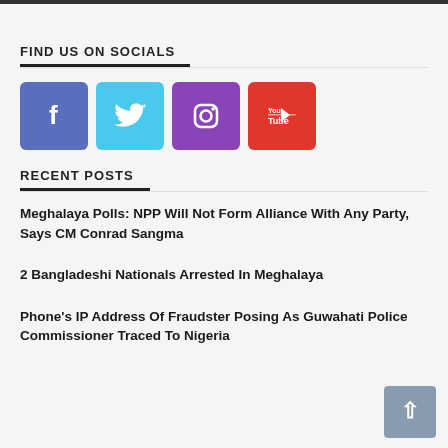FIND US ON SOCIALS
[Figure (infographic): Four social media icon buttons: Facebook (blue-purple), Twitter (light blue), Instagram (purple), YouTube (red)]
RECENT POSTS
Meghalaya Polls: NPP Will Not Form Alliance With Any Party, Says CM Conrad Sangma
2 Bangladeshi Nationals Arrested In Meghalaya
Phone's IP Address Of Fraudster Posing As Guwahati Police Commissioner Traced To Nigeria